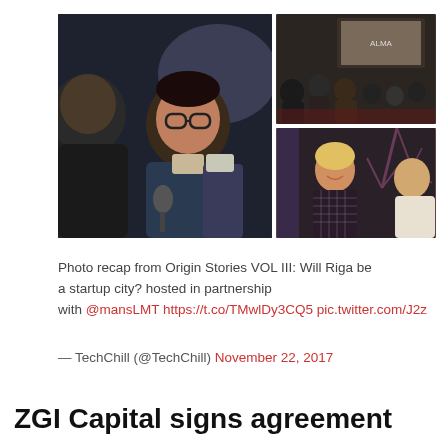[Figure (photo): Photo collage: left large photo shows two men at a panel event, one holding a microphone wearing glasses and dark jacket; top right photo shows audience at a conference/event; bottom right photo shows a woman smiling at a networking event.]
Photo recap from Origin Stories VOL III: Will Riga be a startup city? hosted in partnership with @mansLMT https://t.co/TMwlDy3CQ5 pic.twitter.com/J2z...
— TechChill (@TechChill) November 22, 2017
ZGI Capital signs agreement